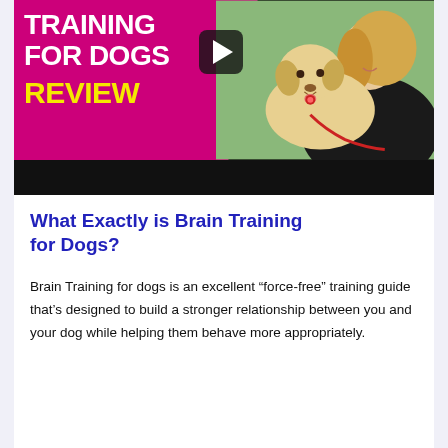[Figure (screenshot): Video thumbnail showing 'Training for Dogs Review' text on a magenta background with a play button, and a photo of a woman with a golden retriever dog]
What Exactly is Brain Training for Dogs?
Brain Training for dogs is an excellent “force-free” training guide that’s designed to build a stronger relationship between you and your dog while helping them behave more appropriately.